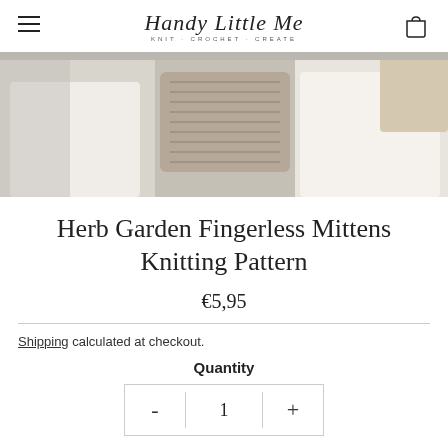Handy Little Me — KNIT · CROCHET · CREATE
[Figure (photo): Two people wearing white clothing with knitted fingerless mittens visible in the center of the image]
Herb Garden Fingerless Mittens Knitting Pattern
€5,95
Shipping calculated at checkout.
Quantity
- 1 +